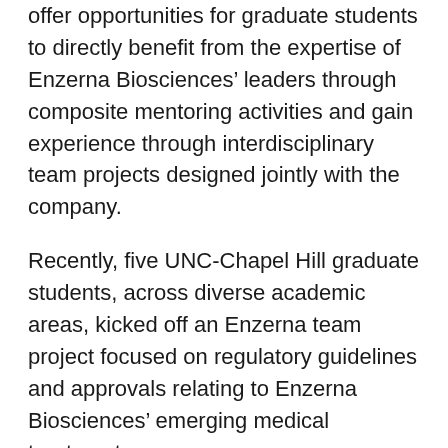offer opportunities for graduate students to directly benefit from the expertise of Enzerna Biosciences' leaders through composite mentoring activities and gain experience through interdisciplinary team projects designed jointly with the company.
Recently, five UNC-Chapel Hill graduate students, across diverse academic areas, kicked off an Enzerna team project focused on regulatory guidelines and approvals relating to Enzerna Biosciences' emerging medical treatments.
“Graduate students in the lab tend to be very focused on their research project,” Ruiz said. “Once you go into business, you have to bring many disciplines together. In the gene therapy space, for example, there’s business, public policy, science, ethics, marketing and